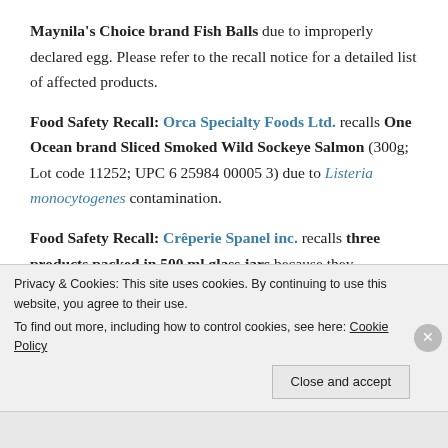Maynila's Choice brand Fish Balls due to improperly declared egg. Please refer to the recall notice for a detailed list of affected products.
Food Safety Recall: Orca Specialty Foods Ltd. recalls One Ocean brand Sliced Smoked Wild Sockeye Salmon (300g; Lot code 11252; UPC 6 25984 00005 3) due to Listeria monocytogenes contamination.
Food Safety Recall: Crêperie Spanel inc. recalls three products packed in 500 ml glass jars because they [cut off]
Privacy & Cookies: This site uses cookies. By continuing to use this website, you agree to their use.
To find out more, including how to control cookies, see here: Cookie Policy
Close and accept